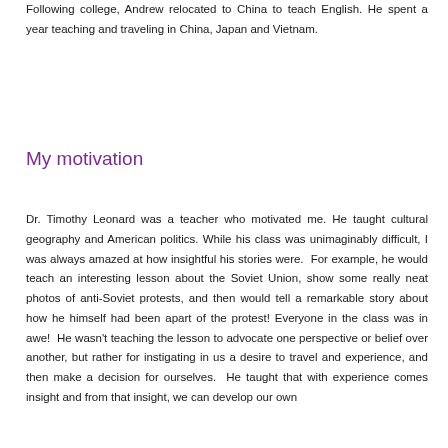Following college, Andrew relocated to China to teach English. He spent a year teaching and traveling in China, Japan and Vietnam.
My motivation
Dr. Timothy Leonard was a teacher who motivated me. He taught cultural geography and American politics. While his class was unimaginably difficult, I was always amazed at how insightful his stories were.  For example, he would teach an interesting lesson about the Soviet Union, show some really neat photos of anti-Soviet protests, and then would tell a remarkable story about how he himself had been apart of the protest! Everyone in the class was in awe!  He wasn't teaching the lesson to advocate one perspective or belief over another, but rather for instigating in us a desire to travel and experience, and then make a decision for ourselves.  He taught that with experience comes insight and from that insight, we can develop our own